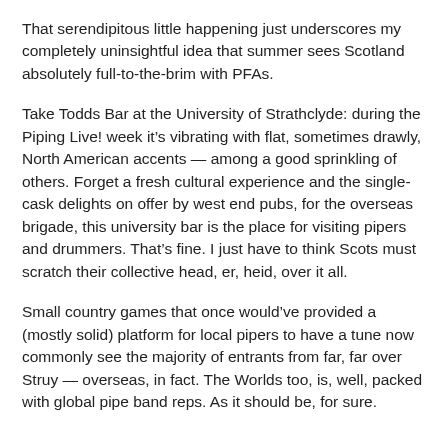That serendipitous little happening just underscores my completely uninsightful idea that summer sees Scotland absolutely full-to-the-brim with PFAs.
Take Todds Bar at the University of Strathclyde: during the Piping Live! week it’s vibrating with flat, sometimes drawly, North American accents — among a good sprinkling of others. Forget a fresh cultural experience and the single-cask delights on offer by west end pubs, for the overseas brigade, this university bar is the place for visiting pipers and drummers. That’s fine. I just have to think Scots must scratch their collective head, er, heid, over it all.
Small country games that once would’ve provided a (mostly solid) platform for local pipers to have a tune now commonly see the majority of entrants from far, far over Struy — overseas, in fact. The Worlds too, is, well, packed with global pipe band reps. As it should be, for sure.